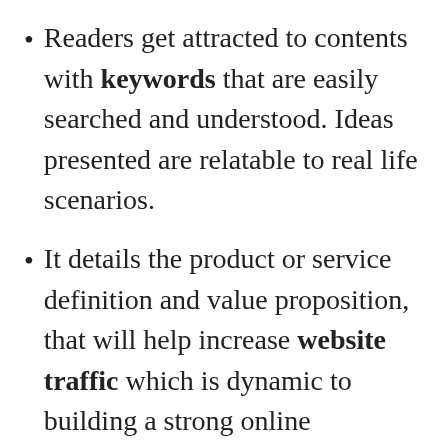Readers get attracted to contents with keywords that are easily searched and understood. Ideas presented are relatable to real life scenarios.
It details the product or service definition and value proposition, that will help increase website traffic which is dynamic to building a strong online presence.
CTAs or call-to-action requests are widely utilized, and such action may